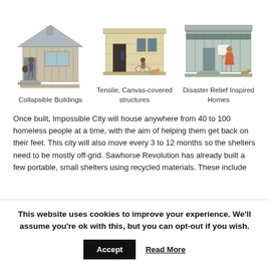[Figure (illustration): Three shelter illustrations side by side: a collapsible wood-paneled building, a tensile canvas-covered structure, and a disaster relief inspired home. Each has people near the entrance.]
Collapsible Buildings
Tensile, Canvas-covered structures
Disaster Relief Inspired Homes
Once built, Impossible City will house anywhere from 40 to 100 homeless people at a time, with the aim of helping them get back on their feet. This city will also move every 3 to 12 months so the shelters need to be mostly off-grid. Sawhorse Revolution has already built a few portable, small shelters using recycled materials. These include
This website uses cookies to improve your experience. We'll assume you're ok with this, but you can opt-out if you wish.